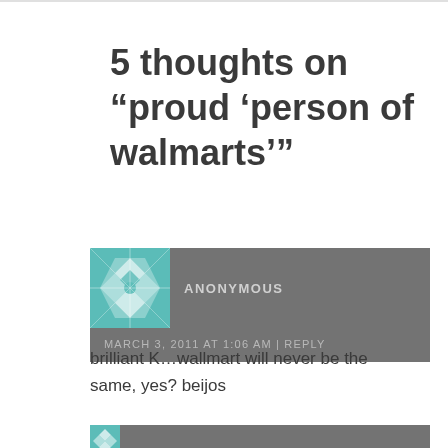5 thoughts on “proud ‘person of walmarts’”
ANONYMOUS
MARCH 3, 2011 AT 1:06 AM | REPLY
brilliant K…wallmart will never be the same, yes? beijos